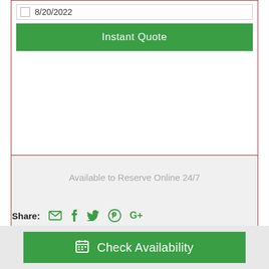8/20/2022
Instant Quote
Available to Reserve Online 24/7
Share:
Check Availability